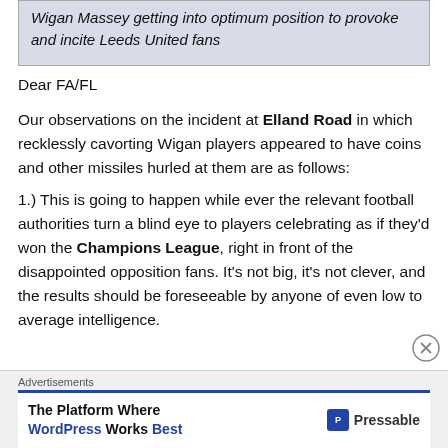Wigan Massey getting into optimum position to provoke and incite Leeds United fans
Dear FA/FL
Our observations on the incident at Elland Road in which recklessly cavorting Wigan players appeared to have coins and other missiles hurled at them are as follows:
1.) This is going to happen while ever the relevant football authorities turn a blind eye to players celebrating as if they’d won the Champions League, right in front of the disappointed opposition fans. It’s not big, it’s not clever, and the results should be foreseeable by anyone of even low to average intelligence.
Advertisements
The Platform Where WordPress Works Best — Pressable